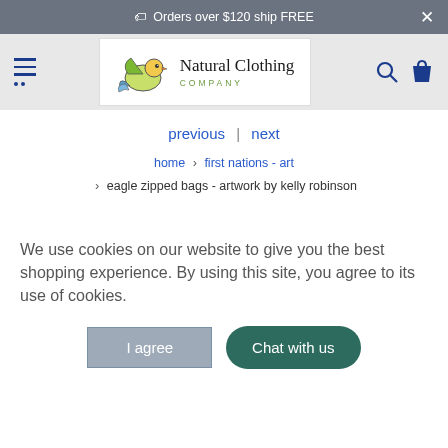Orders over $120 ship FREE
[Figure (logo): Natural Clothing Company logo with a green bird illustration]
previous | next
home > first nations - art > eagle zipped bags - artwork by kelly robinson
We use cookies on our website to give you the best shopping experience. By using this site, you agree to its use of cookies.
I agree
Chat with us